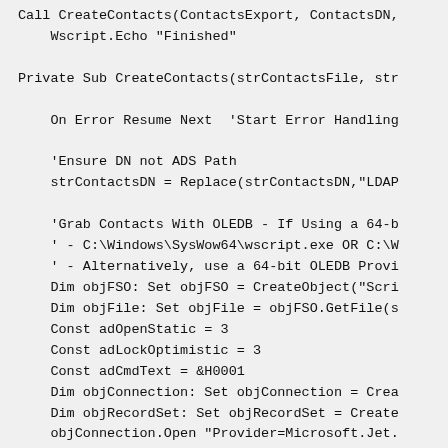Call CreateContacts(ContactsExport, ContactsDN,
    Wscript.Echo "Finished"

Private Sub CreateContacts(strContactsFile, str

    On Error Resume Next  'Start Error Handling

    'Ensure DN not ADS Path
    strContactsDN = Replace(strContactsDN,"LDAP

    'Grab Contacts With OLEDB - If Using a 64-b
    ' - C:\Windows\SysWow64\wscript.exe OR C:\W
    ' - Alternatively, use a 64-bit OLEDB Provi
    Dim objFSO: Set objFSO = CreateObject("Scri
    Dim objFile: Set objFile = objFSO.GetFile(s
    Const adOpenStatic = 3
    Const adLockOptimistic = 3
    Const adCmdText = &H0001
    Dim objConnection: Set objConnection = Crea
    Dim objRecordSet: Set objRecordSet = Create
    objConnection.Open "Provider=Microsoft.Jet.
        "Data Source=" & objFile.ParentFolder &
        "Extended Properties=""text;HDR=YES;FMT
    objRecordSet.Open "SELECT * FROM [" & objFi